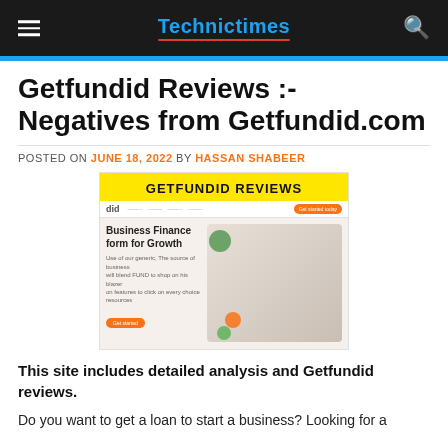Technictimes
Getfundid Reviews :- Negatives from Getfundid.com
POSTED ON JUNE 18, 2022 BY HASSAN SHABEER
[Figure (screenshot): Screenshot of Getfundid.com website with yellow banner reading GETFUNDID REVIEWS, showing a business finance platform homepage with two people in a cafe setting.]
This site includes detailed analysis and Getfundid reviews.
Do you want to get a loan to start a business? Looking for a